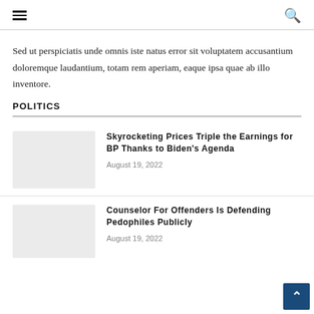[hamburger menu] [search icon]
Sed ut perspiciatis unde omnis iste natus error sit voluptatem accusantium doloremque laudantium, totam rem aperiam, eaque ipsa quae ab illo inventore.
POLITICS
Skyrocketing Prices Triple the Earnings for BP Thanks to Biden's Agenda
August 19, 2022
Counselor For Offenders Is Defending Pedophiles Publicly
August 19, 2022